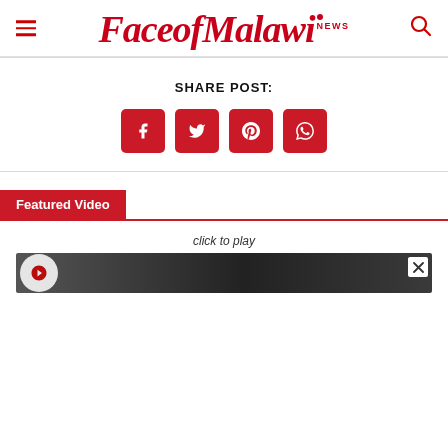FaceofMalawi NEWS
SHARE POST:
[Figure (infographic): Four red social media share buttons: Facebook (f), Twitter (bird), Pinterest (p), WhatsApp (phone)]
Featured Video
click to play
[Figure (screenshot): Video thumbnail showing dark outdoor scene with a bird/logo on left]